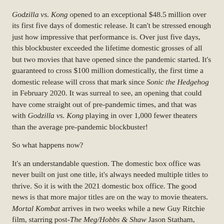Godzilla vs. Kong opened to an exceptional $48.5 million over its first five days of domestic release. It can't be stressed enough just how impressive that performance is. Over just five days, this blockbuster exceeded the lifetime domestic grosses of all but two movies that have opened since the pandemic started. It's guaranteed to cross $100 million domestically, the first time a domestic release will cross that mark since Sonic the Hedgehog in February 2020. It was surreal to see, an opening that could have come straight out of pre-pandemic times, and that was with Godzilla vs. Kong playing in over 1,000 fewer theaters than the average pre-pandemic blockbuster!
So what happens now?
It's an understandable question. The domestic box office was never built on just one title, it's always needed multiple titles to thrive. So it is with the 2021 domestic box office. The good news is that more major titles are on the way to movie theaters. Mortal Kombat arrives in two weeks while a new Guy Ritchie film, starring post-The Meg/Hobbs & Shaw Jason Statham, debuts a week after that. Memorial Day...